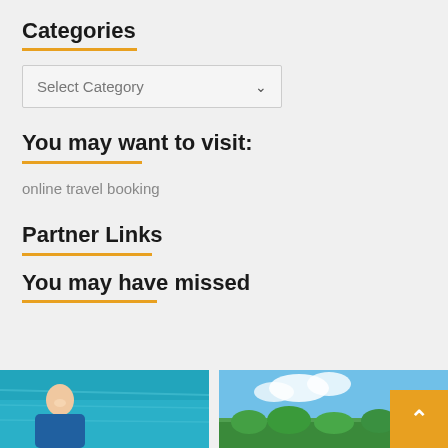Categories
[Figure (screenshot): Select Category dropdown input box with chevron arrow]
You may want to visit:
online travel booking
Partner Links
You may have missed
[Figure (photo): Two thumbnail photos side by side: left shows a woman smiling near blue water, right shows a tropical landscape with blue sky and green trees. An orange back-to-top button with upward chevron is overlaid on the right image.]